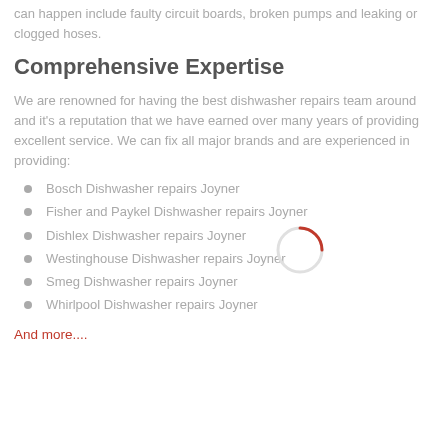can happen include faulty circuit boards, broken pumps and leaking or clogged hoses.
Comprehensive Expertise
We are renowned for having the best dishwasher repairs team around and it's a reputation that we have earned over many years of providing excellent service. We can fix all major brands and are experienced in providing:
Bosch Dishwasher repairs Joyner
Fisher and Paykel Dishwasher repairs Joyner
Dishlex Dishwasher repairs Joyner
Westinghouse Dishwasher repairs Joyner
Smeg Dishwasher repairs Joyner
Whirlpool Dishwasher repairs Joyner
And more....